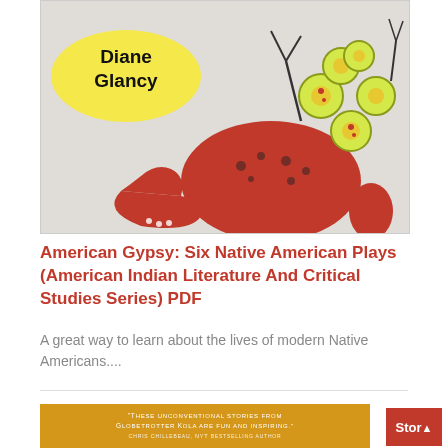[Figure (photo): Book cover for 'American Gypsy: Six Native American Plays' by Diane Glancy. Features an artistic figure in a red polka-dot dress with decorative flower-like ornaments and antler-like elements. Author name 'Diane Glancy' appears in a yellow oval on the left side of the cover.]
American Gypsy: Six Native American Plays (American Indian Literature And Critical Studies Series) PDF
A great way to learn about the lives of modern Native Americans....
[Figure (photo): Partial view of another book cover with golden/yellow background showing a quote: 'These unconventional stories from Globetrotter Kola are fun and inspiring.' - Chris Guillebeau, NYT bestselling author. On the right side is a red 'Story' button with an up arrow.]